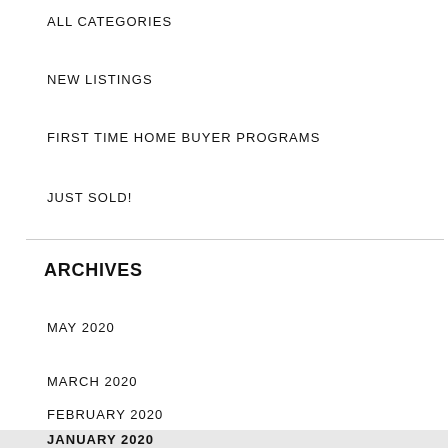ALL CATEGORIES
NEW LISTINGS
FIRST TIME HOME BUYER PROGRAMS
JUST SOLD!
ARCHIVES
MAY 2020
MARCH 2020
FEBRUARY 2020
JANUARY 2020